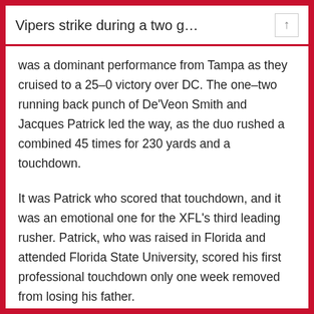Vipers strike during a two g…
was a dominant performance from Tampa as they cruised to a 25–0 victory over DC. The one–two running back punch of De'Veon Smith and Jacques Patrick led the way, as the duo rushed a combined 45 times for 230 yards and a touchdown.
It was Patrick who scored that touchdown, and it was an emotional one for the XFL's third leading rusher. Patrick, who was raised in Florida and attended Florida State University, scored his first professional touchdown only one week removed from losing his father.